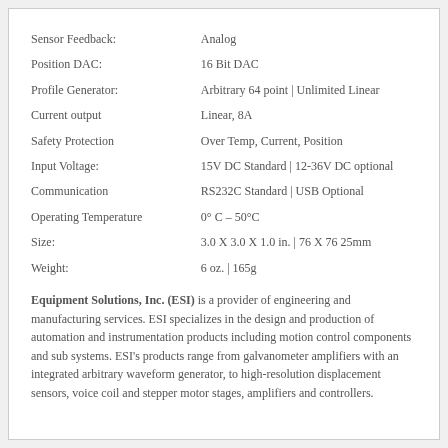| Property | Value |
| --- | --- |
| Sensor Feedback: | Analog |
| Position DAC: | 16 Bit DAC |
| Profile Generator: | Arbitrary 64 point | Unlimited Linear |
| Current output | Linear, 8A |
| Safety Protection | Over Temp, Current, Position |
| Input Voltage: | 15V DC Standard | 12-36V DC optional |
| Communication | RS232C Standard | USB Optional |
| Operating Temperature | 0° C – 50°C |
| Size: | 3.0 X 3.0 X 1.0 in. | 76 X 76 25mm |
| Weight: | 6 oz.  |  165g |
Equipment Solutions, Inc. (ESI) is a provider of engineering and manufacturing services. ESI specializes in the design and production of automation and instrumentation products including motion control components and sub systems. ESI's products range from galvanometer amplifiers with an integrated arbitrary waveform generator, to high-resolution displacement sensors, voice coil and stepper motor stages, amplifiers and controllers.